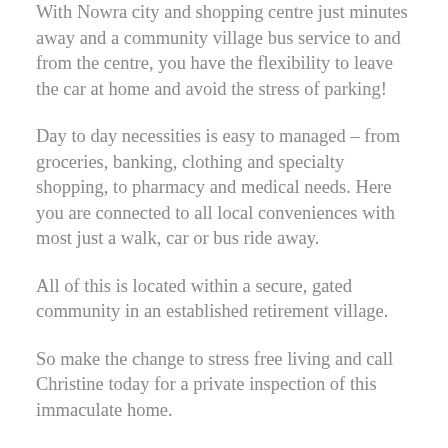With Nowra city and shopping centre just minutes away and a community village bus service to and from the centre, you have the flexibility to leave the car at home and avoid the stress of parking!
Day to day necessities is easy to managed – from groceries, banking, clothing and specialty shopping, to pharmacy and medical needs. Here you are connected to all local conveniences with most just a walk, car or bus ride away.
All of this is located within a secure, gated community in an established retirement village.
So make the change to stress free living and call Christine today for a private inspection of this immaculate home.